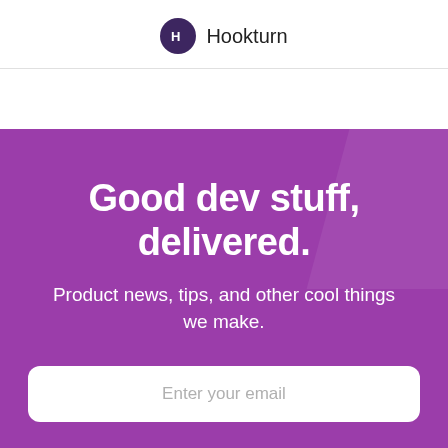Hookturn
Good dev stuff, delivered.
Product news, tips, and other cool things we make.
Enter your email